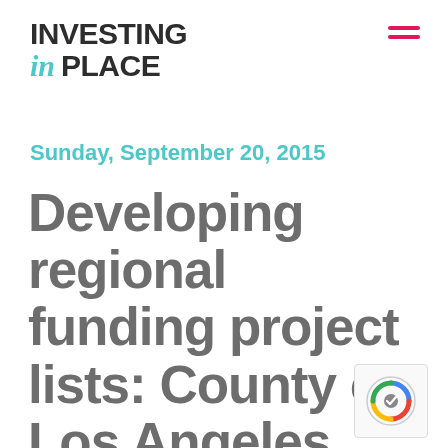INVESTING in PLACE
Sunday, September 20, 2015
Developing regional funding project lists: County of Los Angeles Parks and Recreati…